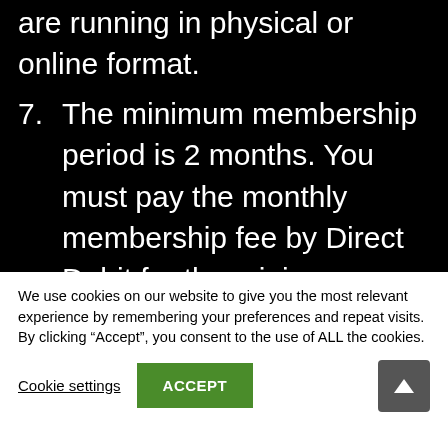are running in physical or online format.
7. The minimum membership period is 2 months. You must pay the monthly membership fee by Direct Debit for the minimum membership period unless your membership is terminated without liability, suspended, or transferred in accordance with these terms. We reserve the right to change the day, time, and location of the
We use cookies on our website to give you the most relevant experience by remembering your preferences and repeat visits. By clicking “Accept”, you consent to the use of ALL the cookies.